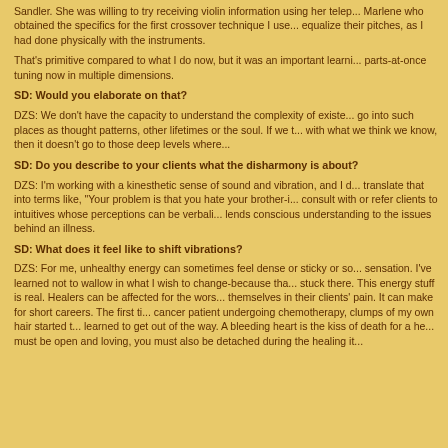Sandler. She was willing to try receiving violin information using her telep... Marlene who obtained the specifics for the first crossover technique I use... equalize their pitches, as I had done physically with the instruments.
That's primitive compared to what I do now, but it was an important learni... parts-at-once tuning now in multiple dimensions.
SD: Would you elaborate on that?
DZS: We don't have the capacity to understand the complexity of existe... go into such places as thought patterns, other lifetimes or the soul. If we t... with what we think we know, then it doesn't go to those deep levels where...
SD: Do you describe to your clients what the disharmony is about?
DZS: I'm working with a kinesthetic sense of sound and vibration, and I d... translate that into terms like, "Your problem is that you hate your brother-i... consult with or refer clients to intuitives whose perceptions can be verbali... lends conscious understanding to the issues behind an illness.
SD: What does it feel like to shift vibrations?
DZS: For me, unhealthy energy can sometimes feel dense or sticky or so... sensation. I've learned not to wallow in what I wish to change-because tha... stuck there. This energy stuff is real. Healers can be affected for the wors... themselves in their clients' pain. It can make for short careers. The first ti... cancer patient undergoing chemotherapy, clumps of my own hair started t... learned to get out of the way. A bleeding heart is the kiss of death for a he... must be open and loving, you must also be detached during the healing it...